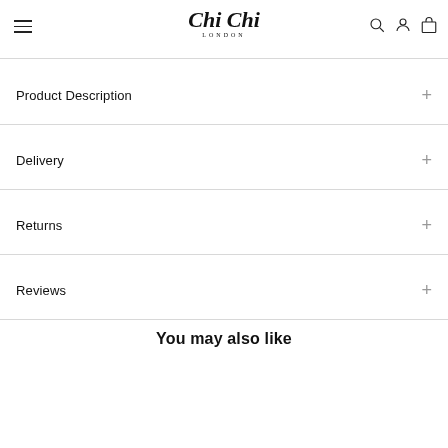Chi Chi LONDON
Product Description
Delivery
Returns
Reviews
You may also like